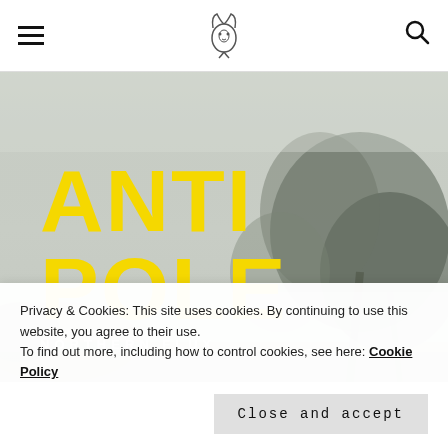Navigation header with hamburger menu, cat logo, and search icon
[Figure (photo): Misty foggy landscape with trees in background, greyscale, with large yellow bold text 'ANTI POLE' and white text 'NORTHERN FLUX' overlaid]
ANTI POLE
NORTHERN FLUX
Privacy & Cookies: This site uses cookies. By continuing to use this website, you agree to their use.
To find out more, including how to control cookies, see here: Cookie Policy
Close and accept